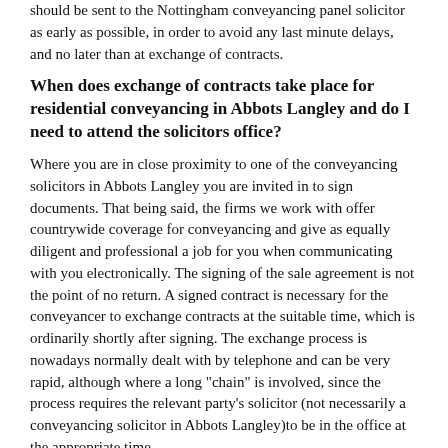should be sent to the Nottingham conveyancing panel solicitor as early as possible, in order to avoid any last minute delays, and no later than at exchange of contracts.
When does exchange of contracts take place for residential conveyancing in Abbots Langley and do I need to attend the solicitors office?
Where you are in close proximity to one of the conveyancing solicitors in Abbots Langley you are invited in to sign documents. That being said, the firms we work with offer countrywide coverage for conveyancing and give as equally diligent and professional a job for you when communicating with you electronically. The signing of the sale agreement is not the point of no return. A signed contract is necessary for the conveyancer to exchange contracts at the suitable time, which is ordinarily shortly after signing. The exchange process is nowadays normally dealt with by telephone and can be very rapid, although where a long "chain" is involved, since the process requires the relevant party's solicitor (not necessarily a conveyancing solicitor in Abbots Langley)to be in the office at the appropriate time.
Despite weeks of looking the Title Certificate and documents to our house are lost. The conveyancers who conducted the conveyancing